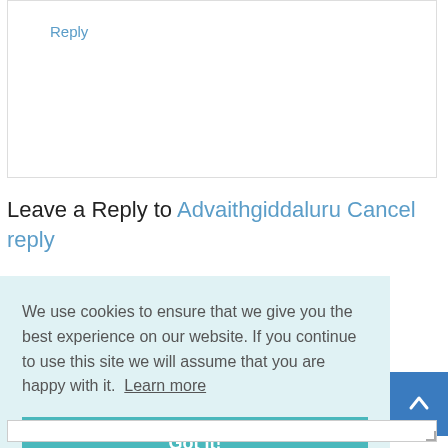Reply
Leave a Reply to Advaithgiddaluru Cancel reply
We use cookies to ensure that we give you the best experience on our website. If you continue to use this site we will assume that you are happy with it.  Learn more
Got it!